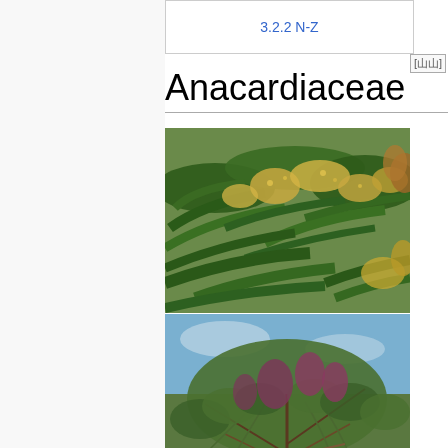3.2.2 N-Z
Anacardiaceae
[Figure (photo): Three stacked photographs of Anacardiaceae plants showing flowering mango-like tree with yellow-green flowers and large green leaves (top), a shrubby tree with feathery foliage and reddish-purple flower clusters against blue sky (middle), and large green leaves close-up (bottom).]